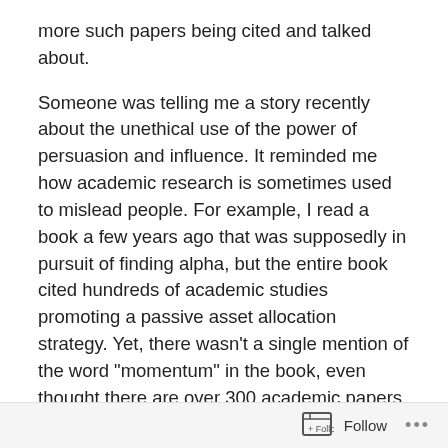more such papers being cited and talked about.
Someone was telling me a story recently about the unethical use of the power of persuasion and influence. It reminded me how academic research is sometimes used to mislead people. For example, I read a book a few years ago that was supposedly in pursuit of finding alpha, but the entire book cited hundreds of academic studies promoting a passive asset allocation strategy. Yet, there wasn't a single mention of the word "momentum" in the book, even thought there are over 300 academic papers that discovered alpha applying simple momentum/relative strength strategies. Momentum has even dis-proven the "Efficient Market Hypothesis", but promoters of EMH call it an "anomaly" they can't explain. I found the book
Follow •••